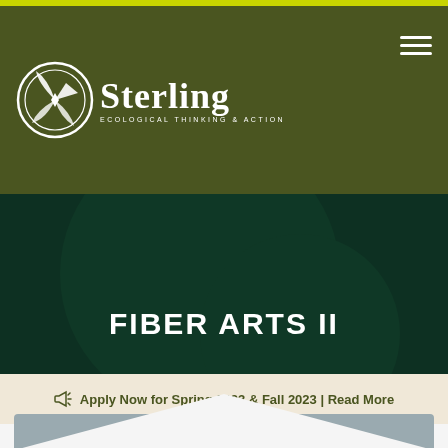[Figure (logo): Sterling College logo — circular icon with leaf/nature motif, text 'Sterling' in large serif font, tagline 'ECOLOGICAL THINKING & ACTION']
FIBER ARTS II
Apply Now for Spring 2023 & Fall 2023 | Read More
[Figure (photo): Partial view of a card image with text: 'Allison Hooper named Chair of the Sterling']